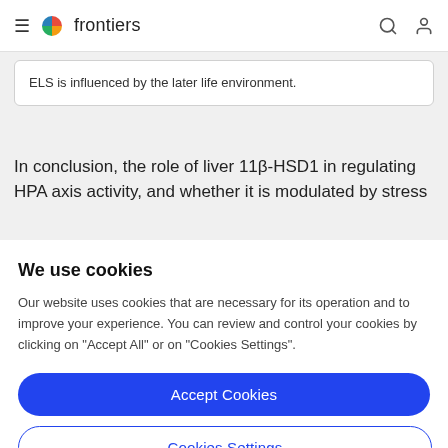frontiers
ELS is influenced by the later life environment.
In conclusion, the role of liver 11β-HSD1 in regulating HPA axis activity, and whether it is modulated by stress
We use cookies
Our website uses cookies that are necessary for its operation and to improve your experience. You can review and control your cookies by clicking on "Accept All" or on "Cookies Settings".
Accept Cookies
Cookies Settings